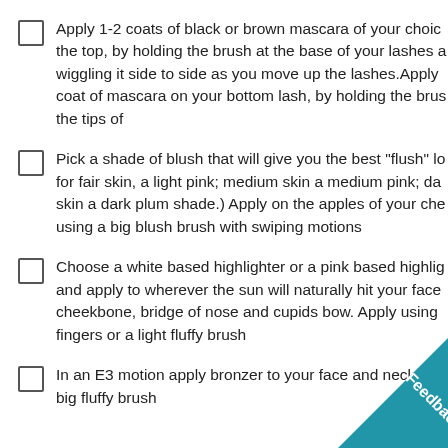Apply 1-2 coats of black or brown mascara of your choice, the top, by holding the brush at the base of your lashes and wiggling it side to side as you move up the lashes.Apply coat of mascara on your bottom lash, by holding the brush the tips of
Pick a shade of blush that will give you the best "flush" look for fair skin, a light pink; medium skin a medium pink; dark skin a dark plum shade.) Apply on the apples of your cheeks using a big blush brush with swiping motions
Choose a white based highlighter or a pink based highlighter and apply to wherever the sun will naturally hit your face: cheekbone, bridge of nose and cupids bow. Apply using fingers or a light fluffy brush
In an E3 motion apply bronzer to your face and neck with a big fluffy brush